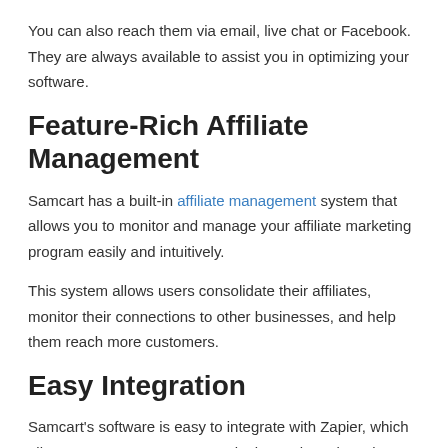You can also reach them via email, live chat or Facebook. They are always available to assist you in optimizing your software.
Feature-Rich Affiliate Management
Samcart has a built-in affiliate management system that allows you to monitor and manage your affiliate marketing program easily and intuitively.
This system allows users consolidate their affiliates, monitor their connections to other businesses, and help them reach more customers.
Easy Integration
Samcart's software is easy to integrate with Zapier, which allows you to use common marketing tools and services. It helps you get your business out there without using a hundred different